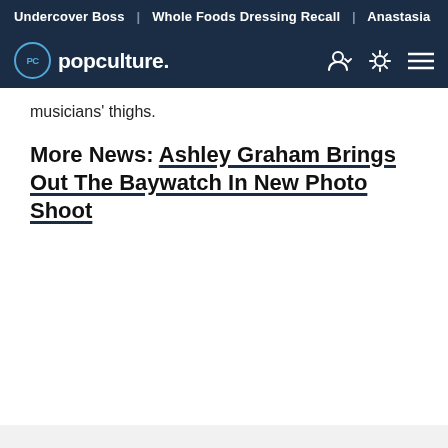Undercover Boss | Whole Foods Dressing Recall | Anastasia
popculture.
musicians' thighs.
More News: Ashley Graham Brings Out The Baywatch In New Photo Shoot